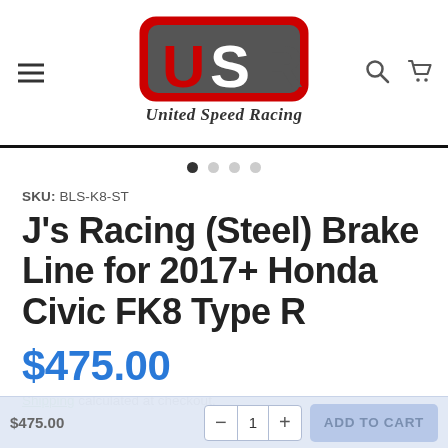[Figure (logo): United Speed Racing logo with USR letters in red and grey shield design, with 'United Speed Racing' text below in italic serif font]
SKU:  BLS-K8-ST
J's Racing (Steel) Brake Line for 2017+ Honda Civic FK8 Type R
$475.00
Shipping calculated at checkout.
$475.00  — 1 +  ADD TO CART